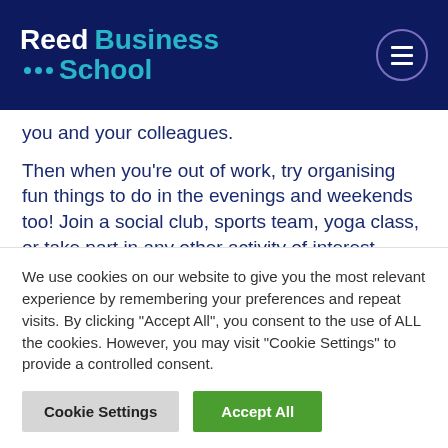[Figure (logo): Reed Business School logo on dark navy header with hamburger menu button]
you and your colleagues.
Then when you're out of work, try organising fun things to do in the evenings and weekends too! Join a social club, sports team, yoga class, or take part in any other activity of interest. Doing these things will imbue life with a greater sense of meaning, purpose and happiness to take forward
We use cookies on our website to give you the most relevant experience by remembering your preferences and repeat visits. By clicking "Accept All", you consent to the use of ALL the cookies. However, you may visit "Cookie Settings" to provide a controlled consent.